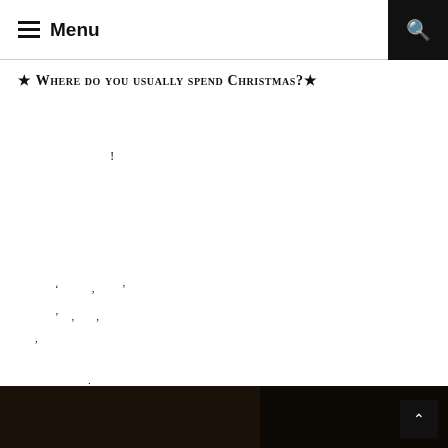Menu
☆ Where do you usually spend Christmas?☆
!
' ,  '
' , ,
,
.
[Figure (photo): Two dark photos side by side at the bottom of the page]